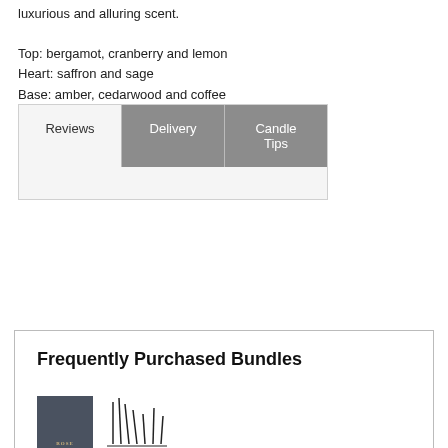luxurious and alluring scent.

Top: bergamot, cranberry and lemon
Heart: saffron and sage
Base: amber, cedarwood and coffee
[Figure (screenshot): Tab navigation bar with three tabs: Reviews (light background), Delivery (dark grey background, selected), Candle Tips (dark grey background, selected area). Below tabs is a light grey content area.]
Frequently Purchased Bundles
[Figure (photo): Product images showing a dark grey box with 'ROSE' text and a candle icon/illustration]